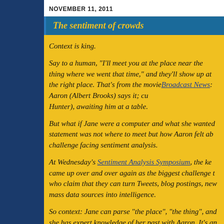NOVEMBER 11, 2011
The sentiment of crowds
Context is king.
Say to a human, "I'll meet you at the place near the thing where we went that time," and they'll show up at the right place. That's from the movie Broadcast News: Aaron (Albert Brooks) says it; cut to Jane (Holly Hunter), awaiting him at a table.
But what if Jane were a computer and what she wanted to extract from that statement was not where to meet but how Aaron felt about the place? That's the challenge facing sentiment analysis.
At Wednesday's Sentiment Analysis Symposium, the keyword "context" came up over and over again as the biggest challenge to the companies who claim that they can turn Tweets, blog postings, news stories and other mass data sources into intelligence.
So context: Jane can parse "the place", "the thing", and "that time" because she has expert knowledge of her past with Aaron. It's an extreme example, but all human writing makes assumptions about the knowledge and experience of the reader. Humans even use those assumptions to infer new things in a public setting: Stephen Fry could retweet Aaron's words and his followers would find the cafe. If Jane is a large organization...